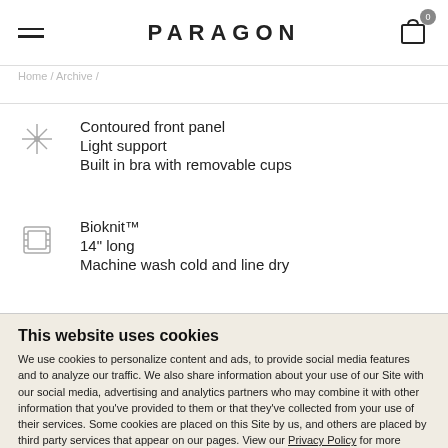PARAGON
Contoured front panel
Light support
Built in bra with removable cups
Bioknit™
14" long
Machine wash cold and line dry
This website uses cookies
We use cookies to personalize content and ads, to provide social media features and to analyze our traffic. We also share information about your use of our Site with our social media, advertising and analytics partners who may combine it with other information that you've provided to them or that they've collected from your use of their services. Some cookies are placed on this Site by us, and others are placed by third party services that appear on our pages. View our Privacy Policy for more information
Allow all cookies
Show details